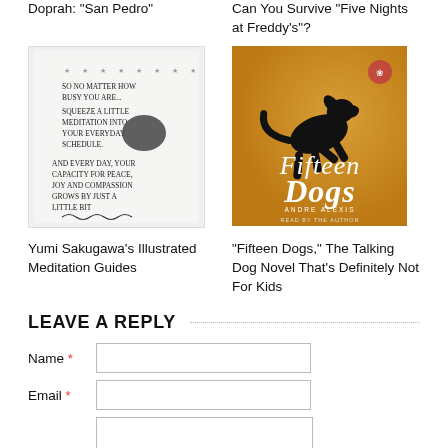Doprah: "San Pedro"
Can You Survive "Five Nights at Freddy's"?
[Figure (illustration): Hand-drawn illustration with text about meditation: stars at top, 'So no matter how busy you are... squeeze a little meditation into your everyday schedule. And every day, your capacity for peace, joy and compassion grows by just a little bit' with a signature.]
[Figure (photo): Book cover of 'Fifteen Dogs' by Andre Alexis, read by the author. Orange/gold background with black silhouette of a jumping dog.]
Yumi Sakugawa's Illustrated Meditation Guides
"Fifteen Dogs," The Talking Dog Novel That's Definitely Not For Kids
LEAVE A REPLY
Name *
Email *